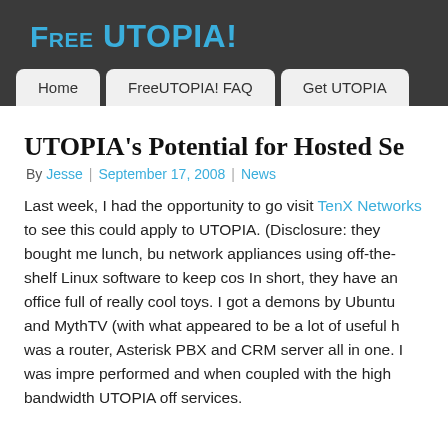Free UTOPIA!
Home | FreeUTOPIA! FAQ | Get UTOPIA
UTOPIA's Potential for Hosted Se…
By Jesse | September 17, 2008 | News
Last week, I had the opportunity to go visit TenX Networks to see this could apply to UTOPIA. (Disclosure: they bought me lunch, bu network appliances using off-the-shelf Linux software to keep cos In short, they have an office full of really cool toys. I got a demons by Ubuntu and MythTV (with what appeared to be a lot of useful h was a router, Asterisk PBX and CRM server all in one. I was impre performed and when coupled with the high bandwidth UTOPIA off services.